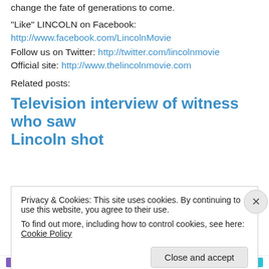change the fate of generations to come.
“Like” LINCOLN on Facebook:
http://www.facebook.com/LincolnMovie
Follow us on Twitter: http://twitter.com/lincolnmovie
Official site: http://www.thelincolnmovie.com
Related posts:
Television interview of witness who saw Lincoln shot
Privacy & Cookies: This site uses cookies. By continuing to use this website, you agree to their use. To find out more, including how to control cookies, see here: Cookie Policy
Close and accept